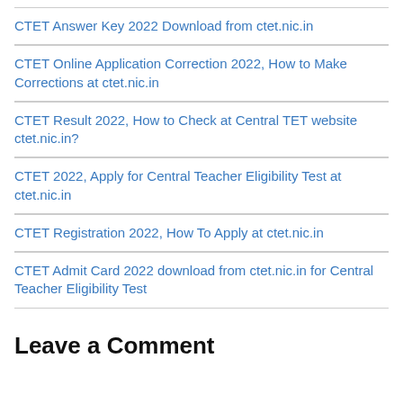CTET Answer Key 2022 Download from ctet.nic.in
CTET Online Application Correction 2022, How to Make Corrections at ctet.nic.in
CTET Result 2022, How to Check at Central TET website ctet.nic.in?
CTET 2022, Apply for Central Teacher Eligibility Test at ctet.nic.in
CTET Registration 2022, How To Apply at ctet.nic.in
CTET Admit Card 2022 download from ctet.nic.in for Central Teacher Eligibility Test
Leave a Comment